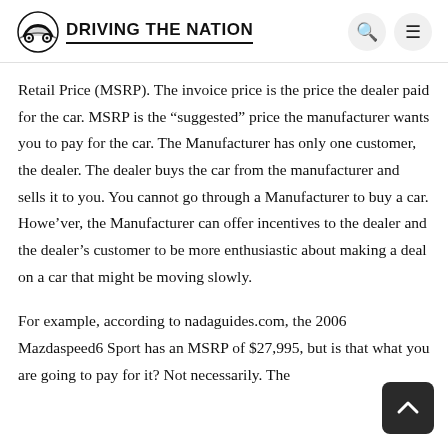DRIVING THE NATION
Retail Price (MSRP). The invoice price is the price the dealer paid for the car. MSRP is the “suggested” price the manufacturer wants you to pay for the car. The Manufacturer has only one customer, the dealer. The dealer buys the car from the manufacturer and sells it to you. You cannot go through a Manufacturer to buy a car. Howe’ver, the Manufacturer can offer incentives to the dealer and the dealer’s customer to be more enthusiastic about making a deal on a car that might be moving slowly.
For example, according to nadaguides.com, the 2006 Mazdaspeed6 Sport has an MSRP of $27,995, but is that what you are going to pay for it? Not necessarily. The